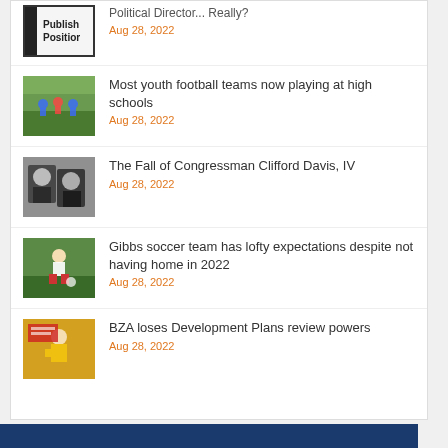Political Director... Really? Aug 28, 2022
Most youth football teams now playing at high schools Aug 28, 2022
The Fall of Congressman Clifford Davis, IV Aug 28, 2022
Gibbs soccer team has lofty expectations despite not having home in 2022 Aug 28, 2022
BZA loses Development Plans review powers Aug 28, 2022